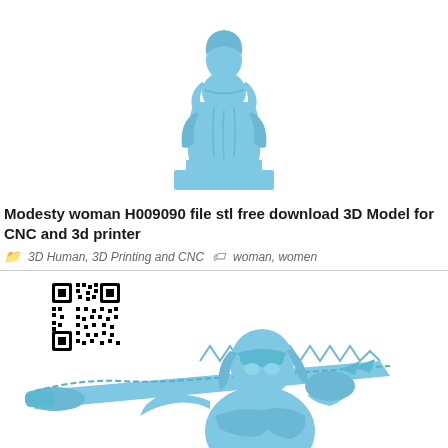[Figure (illustration): 3D render of a blue-tinted modesty woman statue on a rectangular base, shown from waist up, wearing draped robes, arms crossed]
Modesty woman H009090 file stl free download 3D Model for CNC and 3d printer
3D Human, 3D Printing and CNC   woman, women
[Figure (illustration): 3D render of a blue-tinted armored woman warrior figure holding a large chainsaw-type weapon over her shoulder, with a QR code overlay in the top-left area]